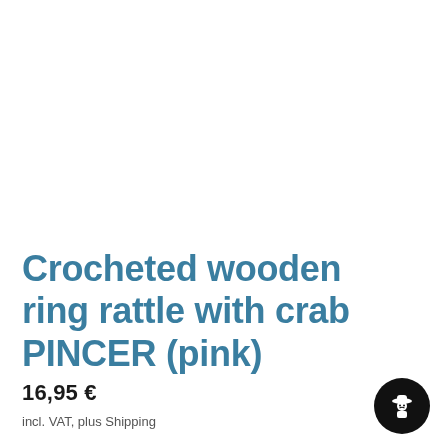Crocheted wooden ring rattle with crab PINCER (pink)
16,95 €
incl. VAT, plus Shipping
[Figure (illustration): Black circular button with a white shopping bag / spy icon in the bottom right corner]